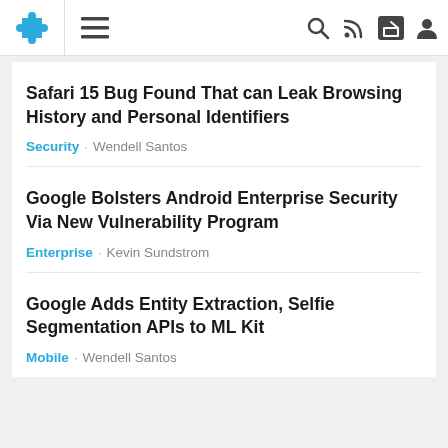Navigation bar with puzzle logo, hamburger menu, search, RSS, share, and user icons
Safari 15 Bug Found That can Leak Browsing History and Personal Identifiers
Security · Wendell Santos
Google Bolsters Android Enterprise Security Via New Vulnerability Program
Enterprise · Kevin Sundstrom
Google Adds Entity Extraction, Selfie Segmentation APIs to ML Kit
Mobile · Wendell Santos